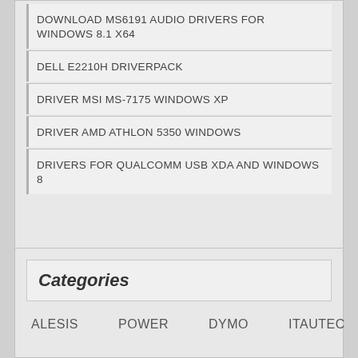DOWNLOAD MS6191 AUDIO DRIVERS FOR WINDOWS 8.1 X64
DELL E2210H DRIVERPACK
DRIVER MSI MS-7175 WINDOWS XP
DRIVER AMD ATHLON 5350 WINDOWS
DRIVERS FOR QUALCOMM USB XDA AND WINDOWS 8
Categories
ALESIS
POWER
DYMO
ITAUTEC